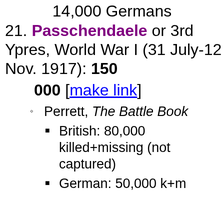14,000 Germans
21. Passchendaele or 3rd Ypres, World War I (31 July-12 Nov. 1917): 150 000 [make link]
Perrett, The Battle Book
British: 80,000 killed+missing (not captured)
German: 50,000 k+m